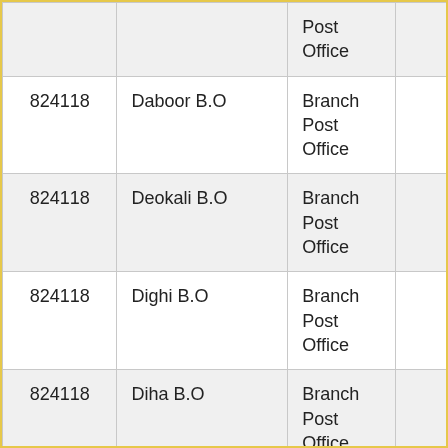| Pincode | Office Name | Office Type |  |
| --- | --- | --- | --- |
|  |  | Post Office |  |
| 824118 | Daboor B.O | Branch Post Office |  |
| 824118 | Deokali B.O | Branch Post Office |  |
| 824118 | Dighi B.O | Branch Post Office |  |
| 824118 | Diha B.O | Branch Post Office |  |
|  |  |  |  |